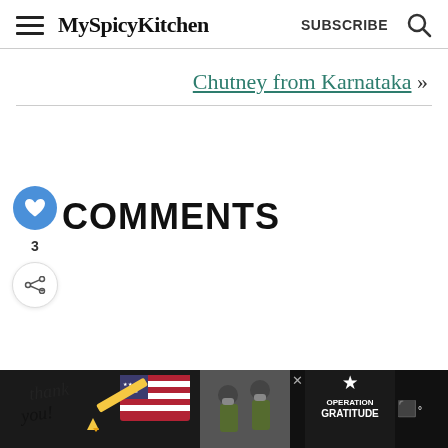MySpicyKitchen  SUBSCRIBE
Chutney from Karnataka »
COMMENTS
3
[Figure (other): Advertisement banner: Thank you Operation Gratitude ad with military imagery on dark background]